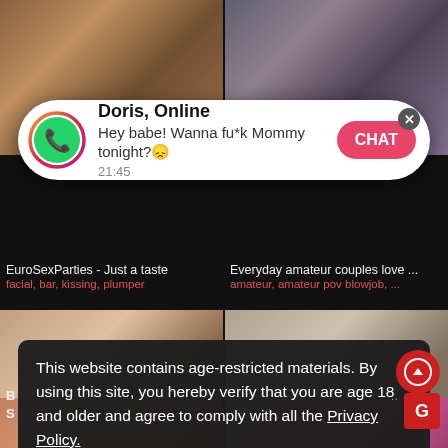[Figure (screenshot): Adult video website screenshot with two thumbnail images in top row]
[Figure (screenshot): WhatsApp-style notification overlay: Doris, Online - Hey babe! Wanna fu*k Mommy tonight? with CHAT button]
EuroSexParties - Just a taste
facial, bar, kissing, plumper
Everyday amateur couples love ...
amateur, amateur pov blowjob, ...
[Figure (screenshot): Two more adult video thumbnails in middle row]
This website contains age-restricted materials. By using this site, you hereby verify that you are age 18 and older and agree to comply with all the Privacy Policy.
We use cookies to provide you the best possible experience on our website and to monitor website traffic. Cookies Policy.
[Figure (screenshot): Bottom row partial thumbnail images]